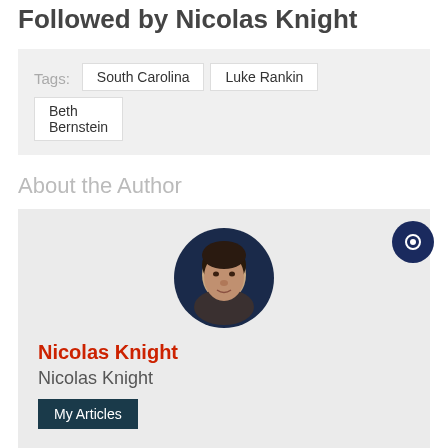Followed by Nicolas Knight
Tags: South Carolina  Luke Rankin  Beth Bernstein
About the Author
[Figure (photo): Circular headshot photo of Nicolas Knight, a man with dark hair against a dark background]
Nicolas Knight
Nicolas Knight
My Articles